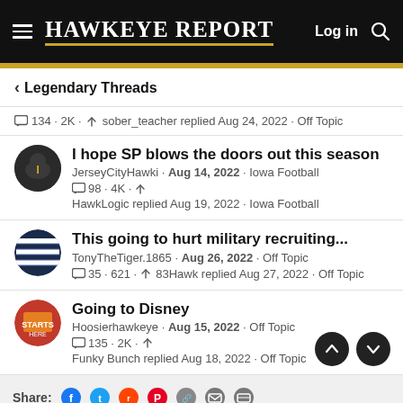Hawkeye Report — Log in
< Legendary Threads
134 · 2K · sober_teacher replied Aug 24, 2022 · Off Topic
I hope SP blows the doors out this season
JerseyCityHawki · Aug 14, 2022 · Iowa Football
98 · 4K · HawkLogic replied Aug 19, 2022 · Iowa Football
This going to hurt military recruiting...
TonyTheTiger.1865 · Aug 26, 2022 · Off Topic
35 · 621 · 83Hawk replied Aug 27, 2022 · Off Topic
Going to Disney
Hoosierhawkeye · Aug 15, 2022 · Off Topic
135 · 2K · Funky Bunch replied Aug 18, 2022 · Off Topic
Share: